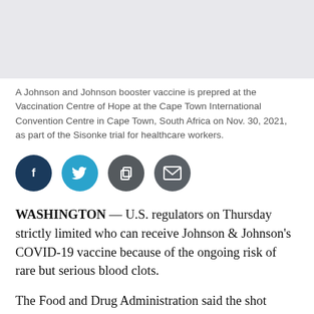[Figure (photo): Gray placeholder area representing a photograph of vaccine preparation at a vaccination centre]
A Johnson and Johnson booster vaccine is prepred at the Vaccination Centre of Hope at the Cape Town International Convention Centre in Cape Town, South Africa on Nov. 30, 2021, as part of the Sisonke trial for healthcare workers.
[Figure (infographic): Social media sharing icons: Facebook (dark blue), Twitter (light blue), Copy/share (dark gray), Email (dark gray)]
WASHINGTON — U.S. regulators on Thursday strictly limited who can receive Johnson & Johnson's COVID-19 vaccine because of the ongoing risk of rare but serious blood clots.
The Food and Drug Administration said the shot should only be given to adults who cannot receive a different vaccine or specifically request J&J's vaccine. U.S. authorities for some the long…